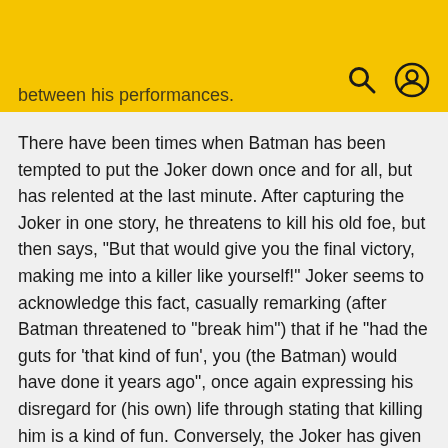between his performances.
There have been times when Batman has been tempted to put the Joker down once and for all, but has relented at the last minute. After capturing the Joker in one story, he threatens to kill his old foe, but then says, "But that would give you the final victory, making me into a killer like yourself!" Joker seems to acknowledge this fact, casually remarking (after Batman threatened to "break him") that if he "had the guts for 'that kind of fun', you (the Batman) would have done it years ago", once again expressing his disregard for (his own) life through stating that killing him is a kind of fun. Conversely, the Joker has given up many chances to kill Batman. Their mutual obsession is